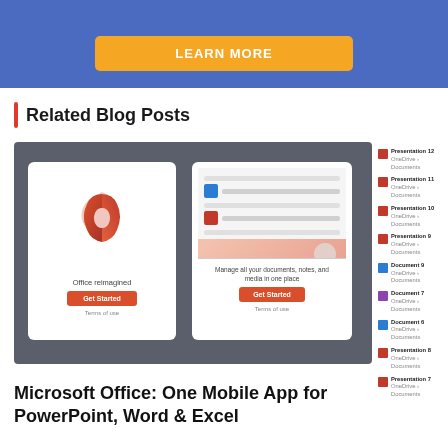[Figure (screenshot): Blue banner with orange LEARN MORE button]
Related Blog Posts
[Figure (screenshot): Screenshot of Microsoft Office mobile app interface showing Office logo card and document management app card on dark grey background, with sidebar list of Presentation and Document items]
Microsoft Office: One Mobile App for PowerPoint, Word & Excel